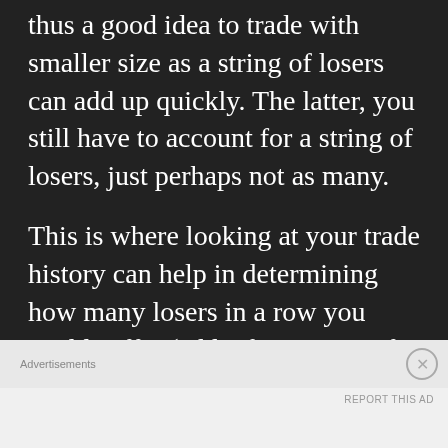strategy means more consecutive losses, thus a good idea to trade with smaller size as a string of losers can add up quickly. The latter, you still have to account for a string of losers, just perhaps not as many.
This is where looking at your trade history can help in determining how many losers in a row you could suffer (add a few extra in for good measure) and multiply that by the amount you risk per trade. Can you handle that max figure? If not, adjust your size
Advertisements
REPORT THIS AD